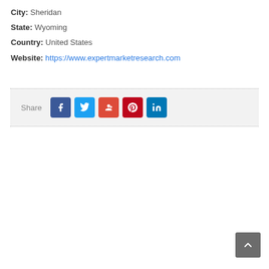City: Sheridan
State: Wyoming
Country: United States
Website: https://www.expertmarketresearch.com
[Figure (infographic): Share bar with social media buttons: Facebook (blue), Twitter (cyan), Google+ (orange-red), Pinterest (red), LinkedIn (dark blue)]